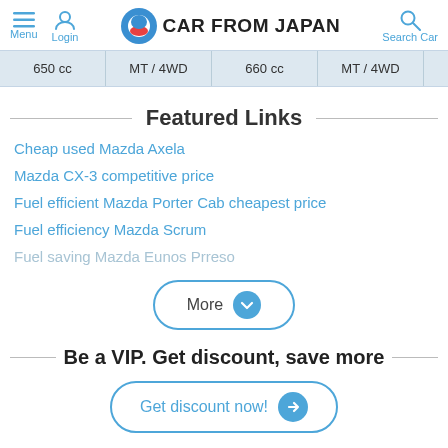Menu | Login | CAR FROM JAPAN | Search Car
| 650 cc | MT / 4WD | 660 cc | MT / 4WD |  |
Featured Links
Cheap used Mazda Axela
Mazda CX-3 competitive price
Fuel efficient Mazda Porter Cab cheapest price
Fuel efficiency Mazda Scrum
Fuel saving Mazda Eunos Prreso
More
Be a VIP. Get discount, save more
Get discount now!